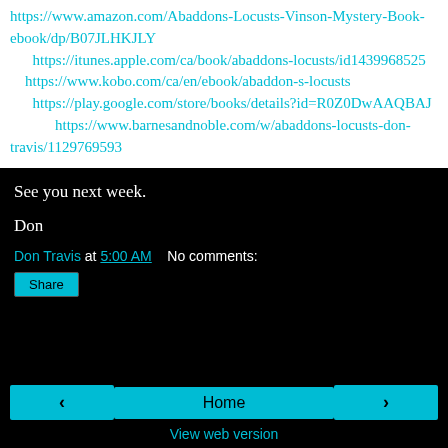https://www.amazon.com/Abaddons-Locusts-Vinson-Mystery-Book-ebook/dp/B07JLHKJLY
https://itunes.apple.com/ca/book/abaddons-locusts/id1439968525
https://www.kobo.com/ca/en/ebook/abaddon-s-locusts
https://play.google.com/store/books/details?id=R0Z0DwAAQBAJ
https://www.barnesandnoble.com/w/abaddons-locusts-don-travis/1129769593
See you next week.
Don
Don Travis at 5:00 AM   No comments:
Share
< Home > View web version